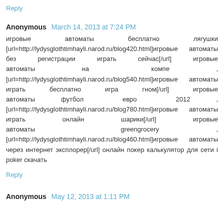Reply
Anonymous  March 14, 2013 at 7:24 PM
игровые автоматы бесплатно лягушки [url=http://lydysglothtimhayli.narod.ru/blog420.html]игровые автоматы без регистрации играть сейчас[/url] игровые автоматы на компе , [url=http://lydysglothtimhayli.narod.ru/blog540.html]игровые автоматы играть бесплатно игра гном[/url] игровые автоматы футбол евро 2012 , [url=http://lydysglothtimhayli.narod.ru/blog780.html]игровые автоматы играть онлайн шарики[/url] игровые автоматы greengrocery , [url=http://lydysglothtimhayli.narod.ru/blog460.html]игровые автоматы через интернет эксплорер[/url] онлайн покер калькулятор для сети i poker скачать
Reply
Anonymous  May 12, 2013 at 1:11 PM